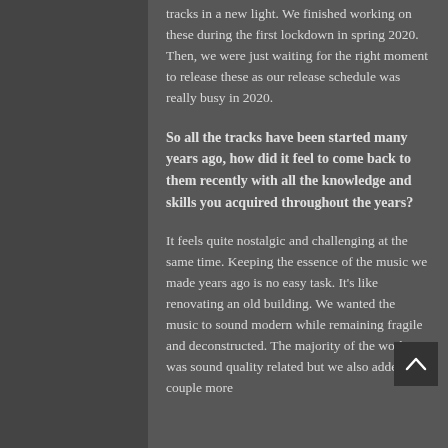tracks in a new light. We finished working on these during the first lockdown in spring 2020. Then, we were just waiting for the right moment to release these as our release schedule was really busy in 2020.
So all the tracks have been started many years ago, how did it feel to come back to them recently with all the knowledge and skills you acquired throughout the years?
It feels quite nostalgic and challenging at the same time. Keeping the essence of the music we made years ago is no easy task. It's like renovating an old building. We wanted the music to sound modern while remaining fragile and deconstructed. The majority of the work was sound quality related but we also added a couple more